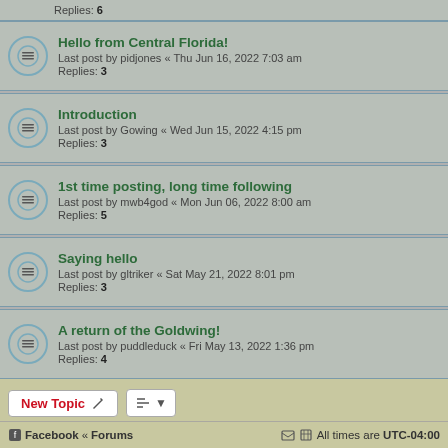Replies: 6
Hello from Central Florida! Last post by pidjones « Thu Jun 16, 2022 7:03 am Replies: 3
Introduction Last post by Gowing « Wed Jun 15, 2022 4:15 pm Replies: 3
1st time posting, long time following Last post by mwb4god « Mon Jun 06, 2022 8:00 am Replies: 5
Saying hello Last post by gltriker « Sat May 21, 2022 8:01 pm Replies: 3
A return of the Goldwing! Last post by puddleduck « Fri May 13, 2022 1:36 pm Replies: 4
New Topic | Sort | 5773 topics | 1 2 3 4 5 ... 231 | Jump to
Facebook « Forums | All times are UTC-04:00